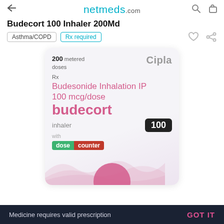netmeds.com
Budecort 100 Inhaler 200Md
Asthma/COPD  Rx required
[Figure (photo): Product image of Budecort 100 Inhaler 200Md box by Cipla. Box shows: 200 metered doses, Cipla branding, Rx label, Budesonide Inhalation IP 100 mcg/dose, budecort inhaler, 100 badge, dose counter label in green and red.]
Medicine requires valid prescription   GOT IT